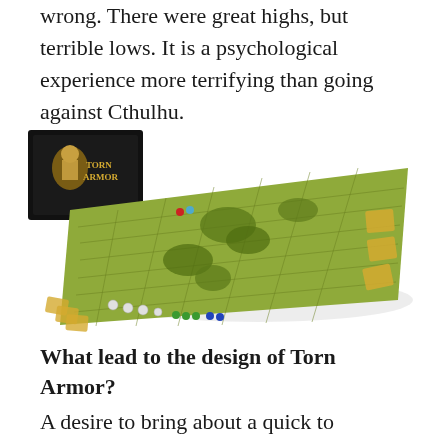wrong. There were great highs, but terrible lows. It is a psychological experience more terrifying than going against Cthulhu.
[Figure (photo): Photo of the Torn Armor board game box and game board spread out, showing a green hex-grid terrain board with miniature figures, yellow cards, and the black game box with gold logo in the upper left.]
What lead to the design of Torn Armor?
A desire to bring about a quick to learn, but strategic rich game.